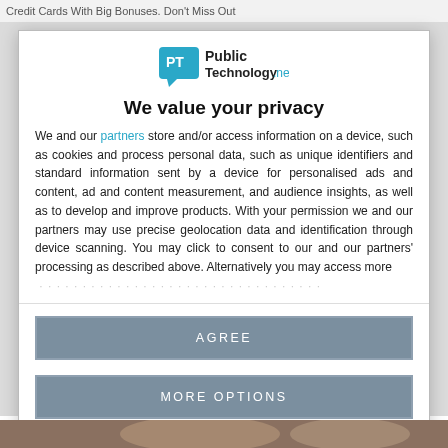Credit Cards With Big Bonuses. Don't Miss Out
[Figure (logo): PublicTechnology.net logo with teal speech bubble icon and bold text]
We value your privacy
We and our partners store and/or access information on a device, such as cookies and process personal data, such as unique identifiers and standard information sent by a device for personalised ads and content, ad and content measurement, and audience insights, as well as to develop and improve products. With your permission we and our partners may use precise geolocation data and identification through device scanning. You may click to consent to our and our partners' processing as described above. Alternatively you may access more detailed information and change your preferences...
AGREE
MORE OPTIONS